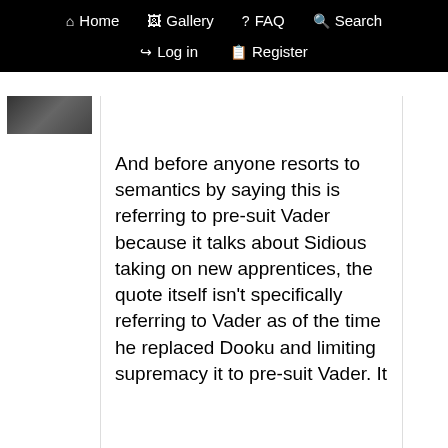Home  Gallery  FAQ  Search  Log in  Register
[Figure (photo): Partial avatar/profile image, dark toned, partially visible at top left of content area]
And before anyone resorts to semantics by saying this is referring to pre-suit Vader because it talks about Sidious taking on new apprentices, the quote itself isn't specifically referring to Vader as of the time he replaced Dooku and limiting supremacy it to pre-suit Vader. It